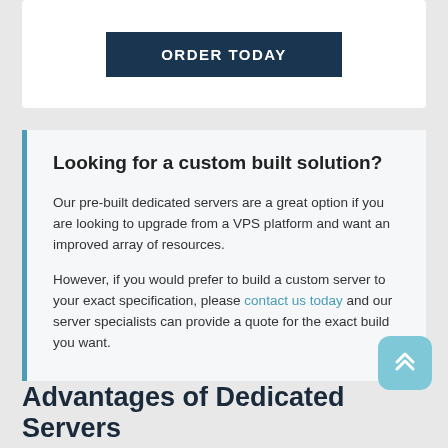[Figure (other): ORDER TODAY button inside a white card]
Looking for a custom built solution?
Our pre-built dedicated servers are a great option if you are looking to upgrade from a VPS platform and want an improved array of resources.
However, if you would prefer to build a custom server to your exact specification, please contact us today and our server specialists can provide a quote for the exact build you want.
Advantages of Dedicated Servers